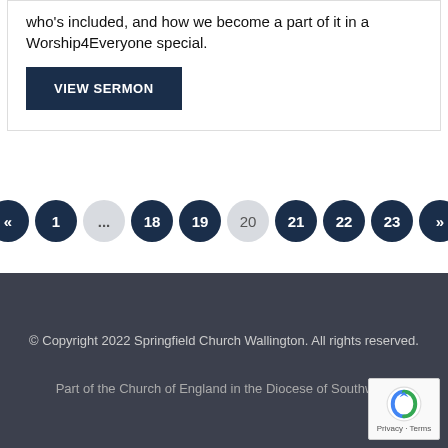who's included, and how we become a part of it in a Worship4Everyone special.
VIEW SERMON
« 1 ... 18 19 20 21 22 23 »
© Copyright 2022 Springfield Church Wallington. All rights reserved.

Part of the Church of England in the Diocese of Southwark